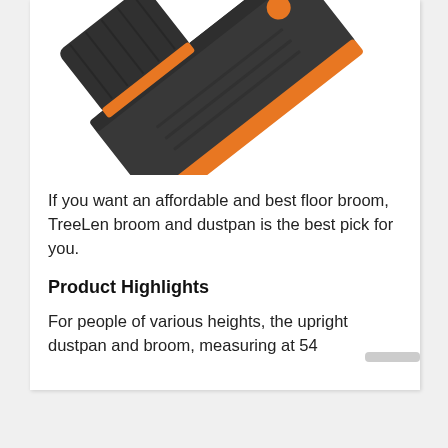[Figure (photo): Close-up photo of a dark gray and orange broom and dustpan set against a white background. The dustpan is dark gray/charcoal with orange accents and trim, shown at an angle.]
If you want an affordable and best floor broom, TreeLen broom and dustpan is the best pick for you.
Product Highlights
For people of various heights, the upright dustpan and broom, measuring at 54